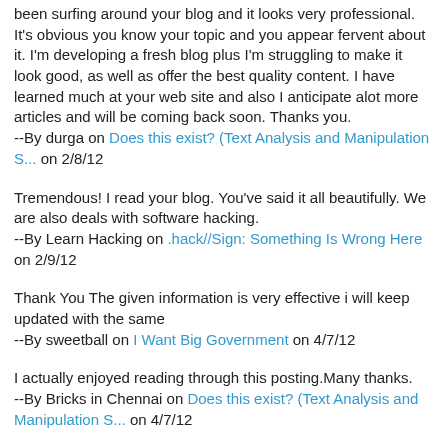been surfing around your blog and it looks very professional. It's obvious you know your topic and you appear fervent about it. I'm developing a fresh blog plus I'm struggling to make it look good, as well as offer the best quality content. I have learned much at your web site and also I anticipate alot more articles and will be coming back soon. Thanks you.
--By durga on Does this exist? (Text Analysis and Manipulation S... on 2/8/12
Tremendous! I read your blog. You've said it all beautifully. We are also deals with software hacking.
--By Learn Hacking on .hack//Sign: Something Is Wrong Here on 2/9/12
Thank You The given information is very effective i will keep updated with the same
--By sweetball on I Want Big Government on 4/7/12
I actually enjoyed reading through this posting.Many thanks.
--By Bricks in Chennai on Does this exist? (Text Analysis and Manipulation S... on 4/7/12